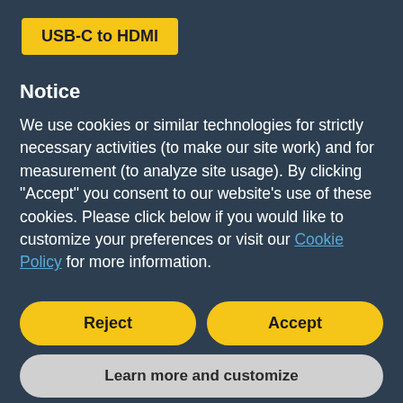USB-C to HDMI
Notice
We use cookies or similar technologies for strictly necessary activities (to make our site work) and for measurement (to analyze site usage). By clicking "Accept" you consent to our website's use of these cookies. Please click below if you would like to customize your preferences or visit our Cookie Policy for more information.
Reject
Accept
Learn more and customize
For whatever type of connection you need to make, they have a product which can fit your need. I carry three or four of their adapters every day, and without those, in a lot of situations, I couldn't do my job.